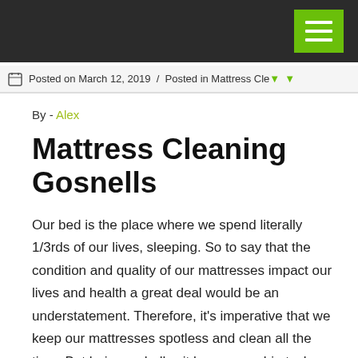Posted on March 12, 2019 / Posted in Mattress Cle...
By - Alex
Mattress Cleaning Gosnells
Our bed is the place where we spend literally 1/3rds of our lives, sleeping. So to say that the condition and quality of our mattresses impact our lives and health a great deal would be an understatement. Therefore, it’s imperative that we keep our mattresses spotless and clean all the time. But being so bulky, it becomes a big task